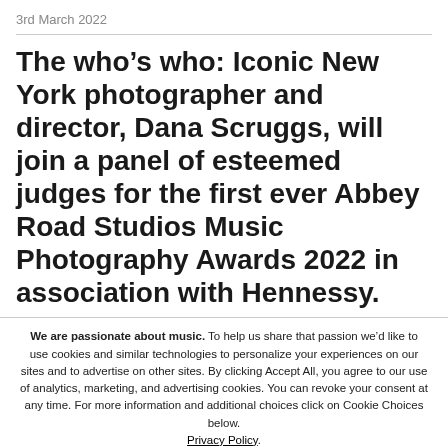3rd March 2022
The who’s who: Iconic New York photographer and director, Dana Scruggs, will join a panel of esteemed judges for the first ever Abbey Road Studios Music Photography Awards 2022 in association with Hennessy.
We are passionate about music. To help us share that passion we’d like to use cookies and similar technologies to personalize your experiences on our sites and to advertise on other sites. By clicking Accept All, you agree to our use of analytics, marketing, and advertising cookies. You can revoke your consent at any time. For more information and additional choices click on Cookie Choices below. Privacy Policy.
Accept All
Cookie Choices
Decline All